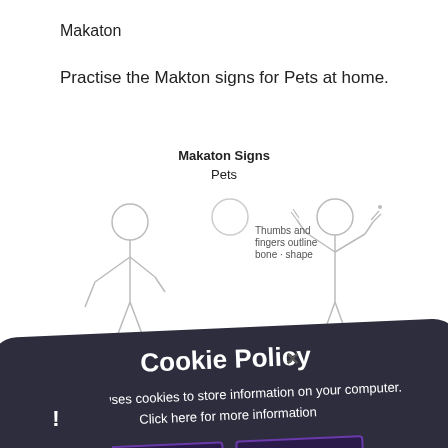Makaton
Practise the Makton signs for Pets at home.
[Figure (illustration): Makaton Signs for Pets instructional illustration showing two figures signing with text 'Thumbs and fingers outline bone - shape']
Makaton Signs
Pets
Cookie Policy
This site uses cookies to store information on your computer. Click here for more information
Allow Cookies  Deny Cookies